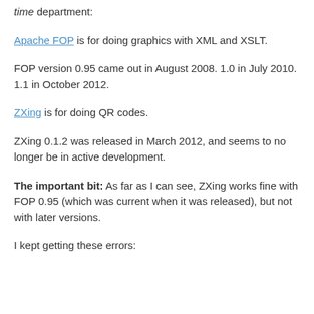time department:
Apache FOP is for doing graphics with XML and XSLT.
FOP version 0.95 came out in August 2008. 1.0 in July 2010. 1.1 in October 2012.
ZXing is for doing QR codes.
ZXing 0.1.2 was released in March 2012, and seems to no longer be in active development.
The important bit: As far as I can see, ZXing works fine with FOP 0.95 (which was current when it was released), but not with later versions.
I kept getting these errors: